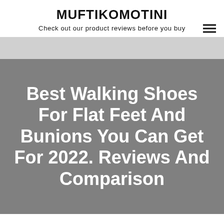MUFTIKOMOTINI
Check out our product reviews before you buy
Best Walking Shoes For Flat Feet And Bunions You Can Get For 2022. Reviews And Comparison